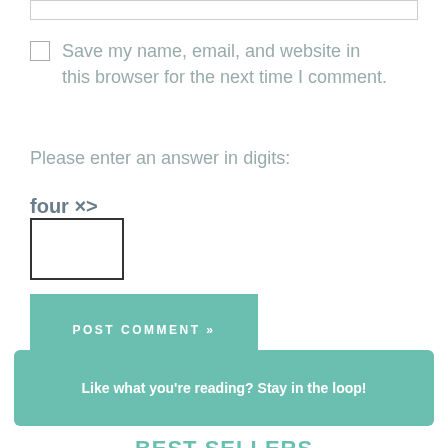Save my name, email, and website in this browser for the next time I comment.
Please enter an answer in digits:
POST COMMENT »
Like what you're reading? Stay in the loop!
BEST SELLERS